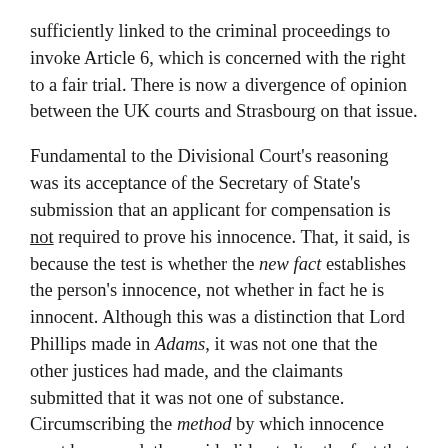sufficiently linked to the criminal proceedings to invoke Article 6, which is concerned with the right to a fair trial. There is now a divergence of opinion between the UK courts and Strasbourg on that issue.
Fundamental to the Divisional Court's reasoning was its acceptance of the Secretary of State's submission that an applicant for compensation is not required to prove his innocence. That, it said, is because the test is whether the new fact establishes the person's innocence, not whether in fact he is innocent. Although this was a distinction that Lord Phillips made in Adams, it was not one that the other justices had made, and the claimants submitted that it was not one of substance. Circumscribing the method by which innocence must be proved, they said, did not alter the fact that innocence must still be proved. Nevertheless, the Court found that there was a proper distinction to be made. Applying that reasoning, it held that the new test does not offend Article 6(2) ECHR.